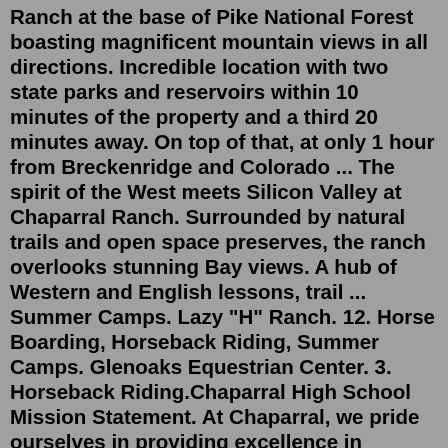Ranch at the base of Pike National Forest boasting magnificent mountain views in all directions. Incredible location with two state parks and reservoirs within 10 minutes of the property and a third 20 minutes away. On top of that, at only 1 hour from Breckenridge and Colorado ... The spirit of the West meets Silicon Valley at Chaparral Ranch. Surrounded by natural trails and open space preserves, the ranch overlooks stunning Bay views. A hub of Western and English lessons, trail ... Summer Camps. Lazy "H" Ranch. 12. Horse Boarding, Horseback Riding, Summer Camps. Glenoaks Equestrian Center. 3. Horseback Riding.Chaparral High School Mission Statement. At Chaparral, we pride ourselves in providing excellence in academics, activities, and athletics and in preparing students to set and achieve high individual goals as they develop into lifelong learners, caring adults, and responsible citizens. $100 /night Ranch RV at The Chaparral The Chaparral Ranch HipCamp Saved 5 times $100 /night The Chaparral Ranch Bunkhouse The Chaparral